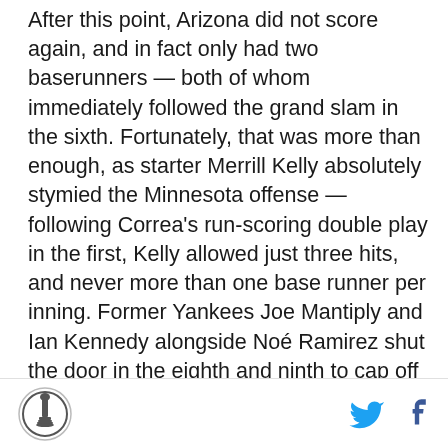After this point, Arizona did not score again, and in fact only had two baserunners — both of whom immediately followed the grand slam in the sixth. Fortunately, that was more than enough, as starter Merrill Kelly absolutely stymied the Minnesota offense — following Correa's run-scoring double play in the first, Kelly allowed just three hits, and never more than one base runner per inning. Former Yankees Joe Mantiply and Ian Kennedy alongside Noé Ramirez shut the door in the eighth and ninth to cap off the series win.
[Figure (other): DraftKings Sportsbook betting widget with 'Bet Now!' button and 'Gerrit Cole' label]
Site logo and social share icons (Twitter/X and Facebook)